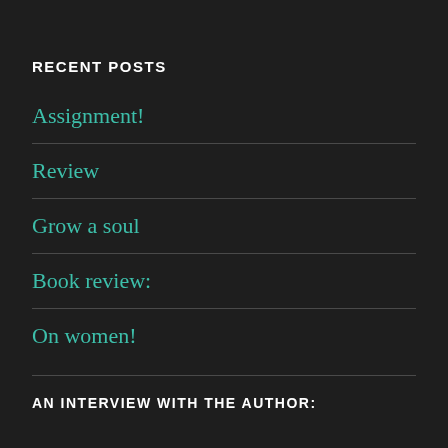RECENT POSTS
Assignment!
Review
Grow a soul
Book review:
On women!
AN INTERVIEW WITH THE AUTHOR: